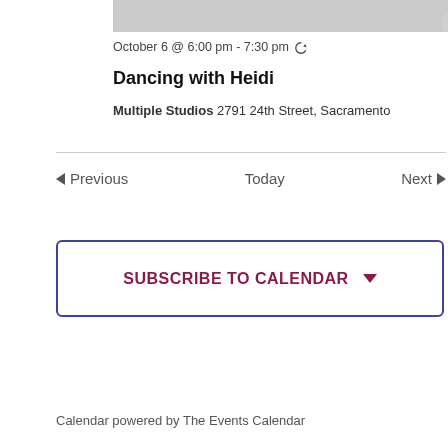[Figure (photo): Partial photo of a dance or movement scene, showing a gray surface with what appears to be a foot or shoe at the top]
October 6 @ 6:00 pm - 7:30 pm ↻
Dancing with Heidi
Multiple Studios 2791 24th Street, Sacramento
< Previous    Today    Next >
SUBSCRIBE TO CALENDAR ∨
Calendar powered by The Events Calendar